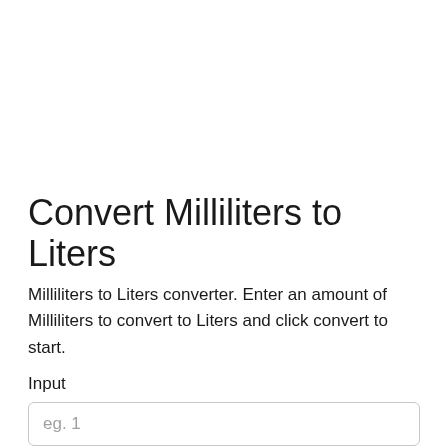Convert Milliliters to Liters
Milliliters to Liters converter. Enter an amount of Milliliters to convert to Liters and click convert to start.
Input
eg. 1